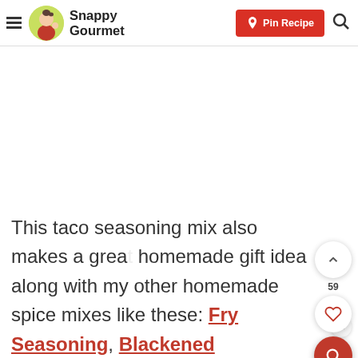Snappy Gourmet — Pin Recipe
This taco seasoning mix also makes a great homemade gift idea along with my other homemade spice mixes like these: Fry Seasoning, Blackened Seasoning, Chili Seasoning, Seasoning Salt, Burger Seasoning, Steak Seasoning, and Poultry